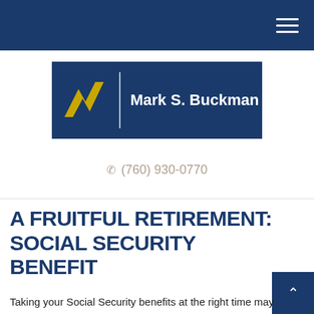Mark S. Buckman — navigation header with hamburger menu
[Figure (logo): Mark S. Buckman logo: dark navy background with yellow lightning bolt / zigzag graphic on left and white text 'Mark S. Buckman' on right]
(760) 930-0770
A FRUITFUL RETIREMENT: SOCIAL SECURITY BENEFIT
Taking your Social Security benefits at the right time may